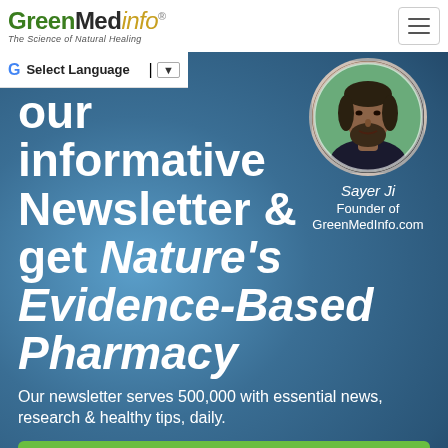GreenMedInfo — The Science of Natural Healing
G Select Language ▼
[Figure (photo): Circular portrait photo of Sayer Ji, founder of GreenMedInfo.com, a man with dark hair and beard wearing a dark shirt]
Sayer Ji
Founder of
GreenMedInfo.com
our informative Newsletter & get Nature's Evidence-Based Pharmacy
Our newsletter serves 500,000 with essential news, research & healthy tips, daily.
Download Now